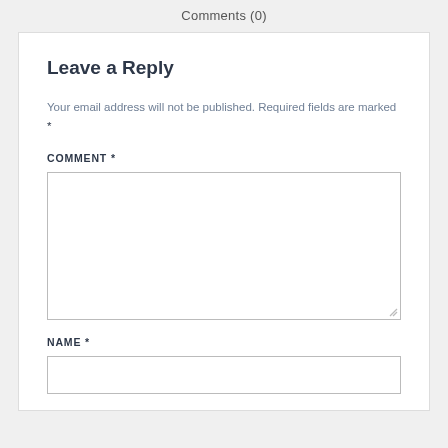Comments (0)
Leave a Reply
Your email address will not be published. Required fields are marked *
COMMENT *
[Figure (other): Empty comment textarea input box]
NAME *
[Figure (other): Empty name input field box]